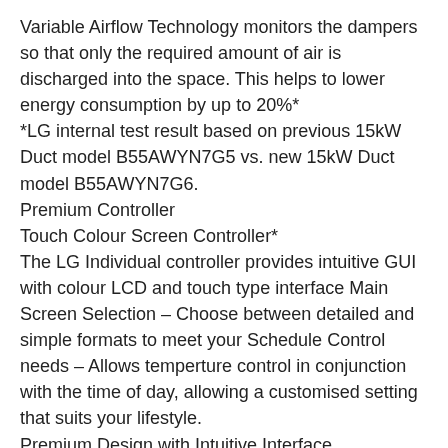Variable Airflow Technology monitors the dampers so that only the required amount of air is discharged into the space. This helps to lower energy consumption by up to 20%*
*LG internal test result based on previous 15kW Duct model B55AWYN7G5 vs. new 15kW Duct model B55AWYN7G6.
Premium Controller
Touch Colour Screen Controller*
The LG Individual controller provides intuitive GUI with colour LCD and touch type interface Main Screen Selection – Choose between detailed and simple formats to meet your Schedule Control needs – Allows temperture control in conjunction with the time of day, allowing a customised setting that suits your lifestyle.
Premium Design with Intuitive Interface
The luxurious design of the premium controller complements the interior design through a colourful display coupled with a simple user friendly button layout